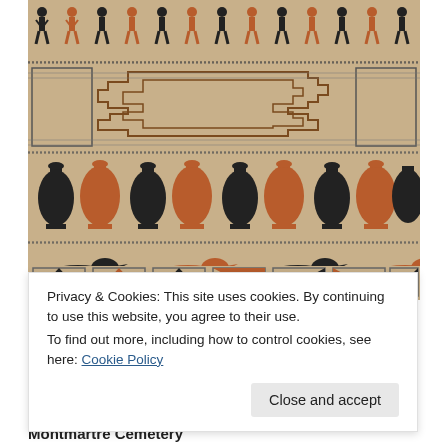[Figure (photo): Close-up photograph of an ancient Egyptian or Near Eastern textile/woven fabric showing decorative bands with geometric patterns, human figures holding hands, alternating black and terracotta/orange amphora/vase shapes, duck/bird figures, and triangular geometric motifs on a cream/beige background.]
Privacy & Cookies: This site uses cookies. By continuing to use this website, you agree to their use.
To find out more, including how to control cookies, see here: Cookie Policy
Close and accept
Montmartre Cemetery